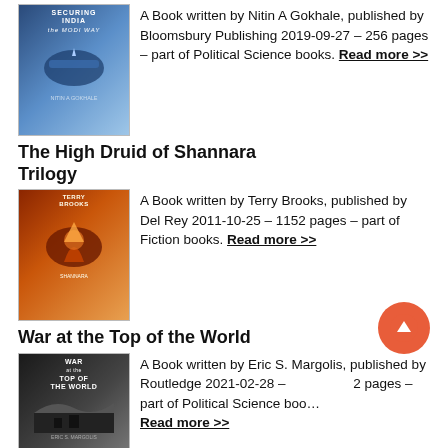[Figure (illustration): Book cover for Securing India the Modi Way]
A Book written by Nitin A Gokhale, published by Bloomsbury Publishing 2019-09-27 – 256 pages – part of Political Science books. Read more >>
The High Druid of Shannara Trilogy
[Figure (illustration): Book cover for The High Druid of Shannara Trilogy by Terry Brooks]
A Book written by Terry Brooks, published by Del Rey 2011-10-25 – 1152 pages – part of Fiction books. Read more >>
War at the Top of the World
[Figure (illustration): Book cover for War at the Top of the World by Eric S. Margolis]
A Book written by Eric S. Margolis, published by Routledge 2021-02-28 – 2 pages – part of Political Science books. Read more >>
Related Books